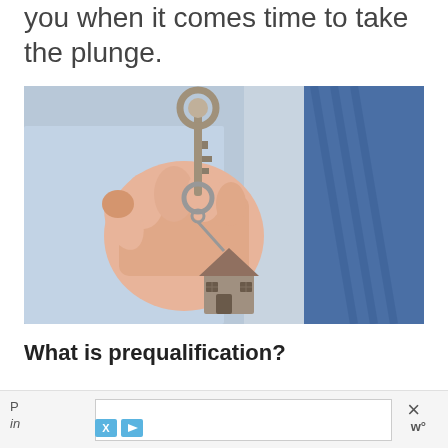you when it comes time to take the plunge.
[Figure (photo): A hand holding a house key with a house-shaped keychain, person wearing a blue dress shirt and tie in the background]
What is prequalification?